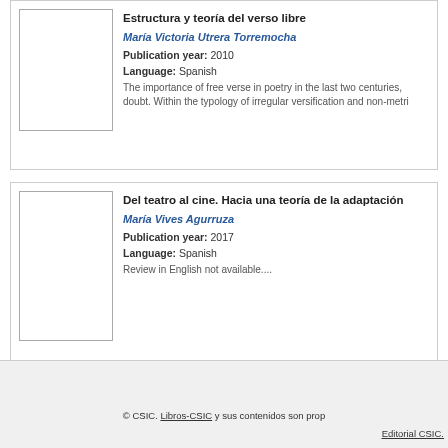Estructura y teoría del verso libre
María Victoria Utrera Torremocha
Publication year: 2010
Language: Spanish
The importance of free verse in poetry in the last two centuries, doubt. Within the typology of irregular versification and non-metri
Del teatro al cine. Hacia una teoría de la adaptación
María Vives Agurruza
Publication year: 2017
Language: Spanish
Review in English not available....
© CSIC. Libros-CSIC y sus contenidos son prop Editorial CSIC.